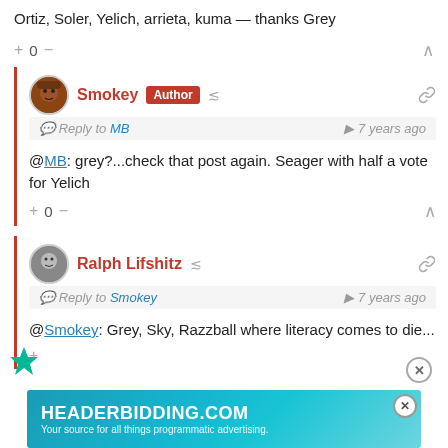Ortiz, Soler, Yelich, arrieta, kuma — thanks Grey
+ 0 −
Smokey Author
Reply to MB   7 years ago
@MB: grey?...check that post again. Seager with half a vote for Yelich
+ 0 −
Ralph Lifshitz
Reply to Smokey   7 years ago
@Smokey: Grey, Sky, Razzball where literacy comes to die...
[Figure (other): HEADERBIDDING.COM advertisement banner - Your source for all things programmatic advertising.]